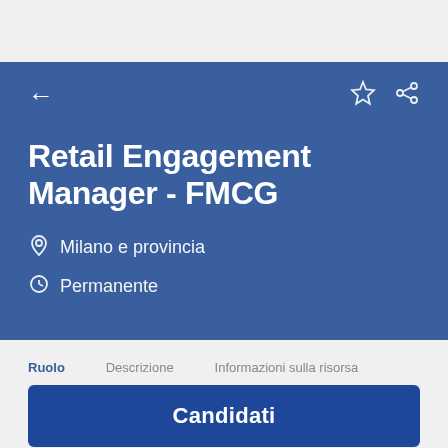Retail Engagement Manager - FMCG
Milano e provincia
Permanente
Candidati